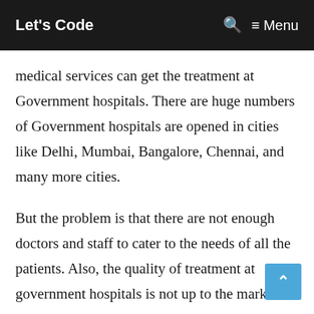Let's Code   🔍 ≡ Menu
medical services can get the treatment at Government hospitals. There are huge numbers of Government hospitals are opened in cities like Delhi, Mumbai, Bangalore, Chennai, and many more cities.
But the problem is that there are not enough doctors and staff to cater to the needs of all the patients. Also, the quality of treatment at government hospitals is not up to the mark. This is where private hospitals come in. Private hospitals have better infrastructure